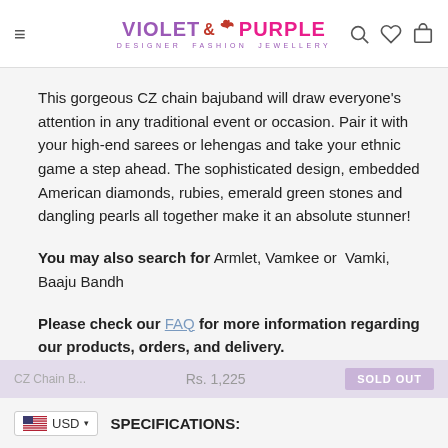Violet & Purple — Designer Fashion Jewellery
This gorgeous CZ chain bajuband will draw everyone's attention in any traditional event or occasion. Pair it with your high-end sarees or lehengas and take your ethnic game a step ahead. The sophisticated design, embedded American diamonds, rubies, emerald green stones and dangling pearls all together make it an absolute stunner!
You may also search for Armlet, Vamkee or Vamki, Baaju Bandh
Please check our FAQ for more information regarding our products, orders, and delivery.
USD  SPECIFICATIONS: